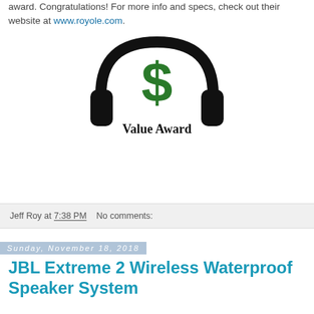award. Congratulations! For more info and specs, check out their website at www.royole.com.
[Figure (logo): Headphone Value Award logo: black headphones with a green dollar sign in the center, text 'Value Award' below in black serif font]
Jeff Roy at 7:38 PM   No comments:
Sunday, November 18, 2018
JBL Extreme 2 Wireless Waterproof Speaker System